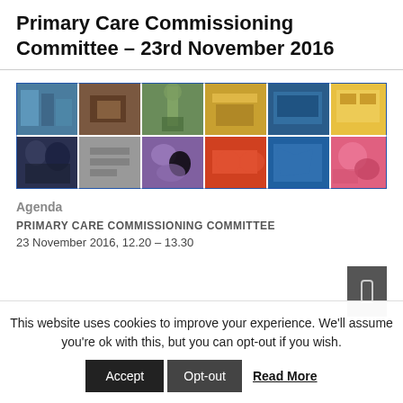Primary Care Commissioning Committee – 23rd November 2016
[Figure (photo): Photo collage grid showing various city scenes: buildings, people working, a statue, market stalls, buses, trams, and colorful imagery arranged in a 6-column by 2-row grid.]
Agenda
PRIMARY CARE COMMISSIONING COMMITTEE
23 November 2016, 12.20 – 13.30
This website uses cookies to improve your experience. We'll assume you're ok with this, but you can opt-out if you wish.